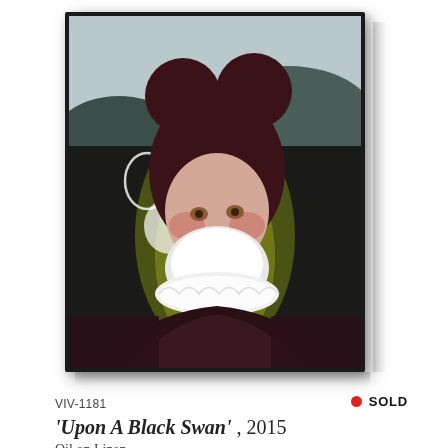[Figure (photo): Framed oil painting showing a bearded figure wearing Mickey Mouse ears, dressed in dark Renaissance-style clothing with a white ruff collar, set against a dark landscape background. The painting is in a black frame with shadow effect suggesting it is displayed on a wall.]
VIV-1181
● SOLD
'Upon A Black Swan' , 2015
Oil on Linen